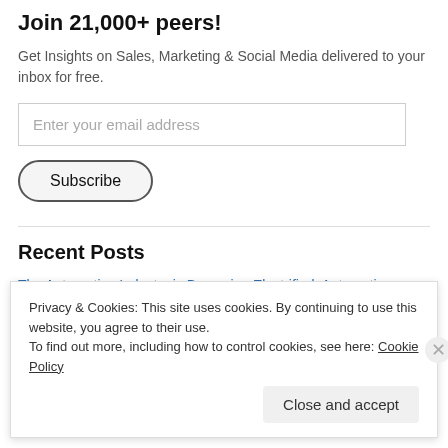Join 21,000+ peers!
Get Insights on Sales, Marketing & Social Media delivered to your inbox for free.
Enter your email address
Subscribe
Recent Posts
The Automotive Industry is Becoming Electrified: Automotive Trends
Privacy & Cookies: This site uses cookies. By continuing to use this website, you agree to their use.
To find out more, including how to control cookies, see here: Cookie Policy
Close and accept